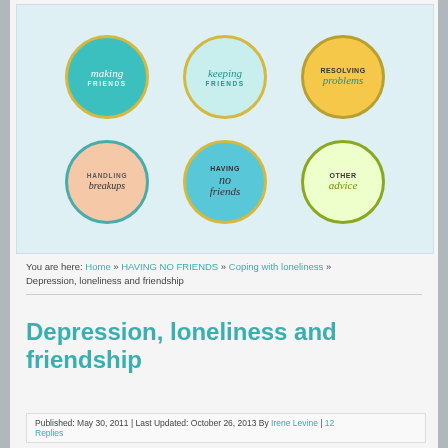[Figure (infographic): Six circular button-style icons on a light blue background representing friendship topics: making friends (teal with gold border), keeping friends (light teal with gold border), resolving problems (yellow with dark border), handling breakups (peach with teal border), having no friends (teal/turquoise with gold border), other advice (light green with olive border).]
You are here: Home » HAVING NO FRIENDS » Coping with loneliness » Depression, loneliness and friendship
Depression, loneliness and friendship
Published: May 30, 2011 | Last Updated: October 26, 2013 By Irene Levine | 12 Replies